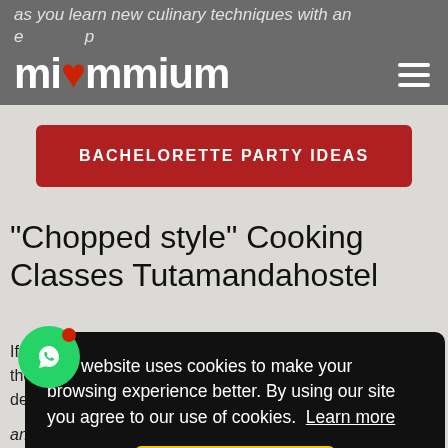as you learn new culinary techniques with an e... p...
[Figure (logo): miommium logo in white on grey nav bar with hamburger menu icon]
[Figure (screenshot): Red button labeled BACHELORETTE PARTY IDEAS]
"Chopped style" Cooking Classes Tutamandahostel
If yo... the d... desi... y... and more each of you, under the supervision of
[Figure (screenshot): Cookie consent popup: Our website uses cookies to make your browsing experience better. By using our site you agree to our use of cookies. Learn more — Yes button]
[Figure (other): WhatsApp floating button with red notification dot]